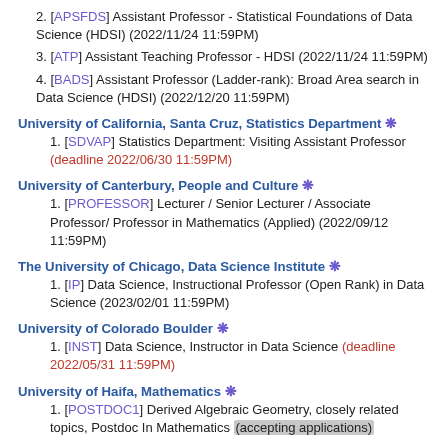2. [APSFDS] Assistant Professor - Statistical Foundations of Data Science (HDSI) (2022/11/24 11:59PM)
3. [ATP] Assistant Teaching Professor - HDSI (2022/11/24 11:59PM)
4. [BADS] Assistant Professor (Ladder-rank): Broad Area search in Data Science (HDSI) (2022/12/20 11:59PM)
University of California, Santa Cruz, Statistics Department *
1. [SDVAP] Statistics Department: Visiting Assistant Professor (deadline 2022/06/30 11:59PM)
University of Canterbury, People and Culture *
1. [PROFESSOR] Lecturer / Senior Lecturer / Associate Professor/ Professor in Mathematics (Applied) (2022/09/12 11:59PM)
The University of Chicago, Data Science Institute *
1. [IP] Data Science, Instructional Professor (Open Rank) in Data Science (2023/02/01 11:59PM)
University of Colorado Boulder *
1. [INST] Data Science, Instructor in Data Science (deadline 2022/05/31 11:59PM)
University of Haifa, Mathematics *
1. [POSTDOC1] Derived Algebraic Geometry, closely related topics, Postdoc In Mathematics (accepting applications)